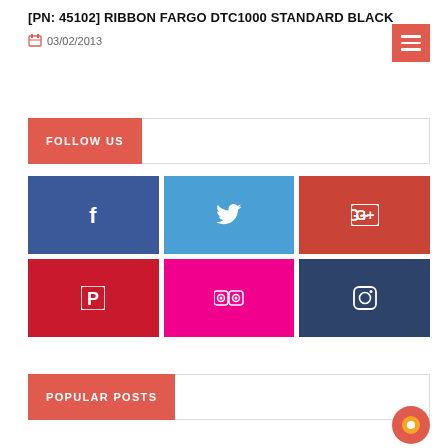[PN: 45102] RIBBON FARGO DTC1000 STANDARD BLACK
03/02/2013
FOLLOW US
[Figure (infographic): Social media icon grid: Facebook (dark blue), Twitter (light blue), Google+ (red), Pinterest (dark red), Flickr (magenta), Instagram (dark navy)]
POPULAR POSTS